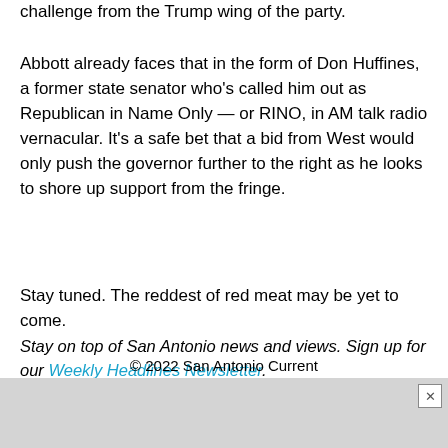challenge from the Trump wing of the party.
Abbott already faces that in the form of Don Huffines, a former state senator who's called him out as Republican in Name Only — or RINO, in AM talk radio vernacular. It's a safe bet that a bid from West would only push the governor further to the right as he looks to shore up support from the fringe.
Stay tuned. The reddest of red meat may be yet to come.
Stay on top of San Antonio news and views. Sign up for our Weekly Headlines Newsletter.
© 2022 San Antonio Current
Powered by Foundation